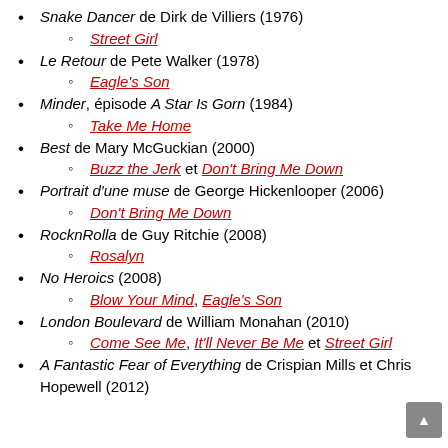Snake Dancer de Dirk de Villiers (1976)
Street Girl
Le Retour de Pete Walker (1978)
Eagle's Son
Minder, épisode A Star Is Gorn (1984)
Take Me Home
Best de Mary McGuckian (2000)
Buzz the Jerk et Don't Bring Me Down
Portrait d'une muse de George Hickenlooper (2006)
Don't Bring Me Down
RocknRolla de Guy Ritchie (2008)
Rosalyn
No Heroics (2008)
Blow Your Mind, Eagle's Son
London Boulevard de William Monahan (2010)
Come See Me, It'll Never Be Me et Street Girl
A Fantastic Fear of Everything de Crispian Mills et Chris Hopewell (2012)